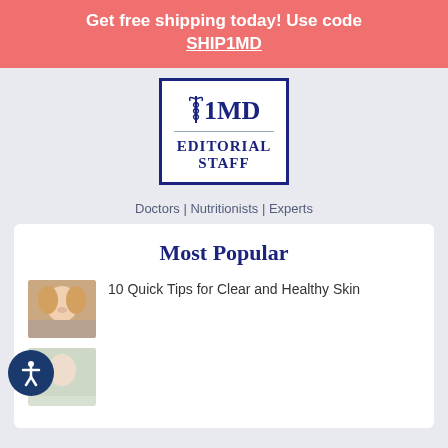Get free shipping today! Use code SHIP1MD
[Figure (logo): 1MD Editorial Staff logo — caduceus symbol above a horizontal rule, then bold text EDITORIAL STAFF in a bordered box]
Doctors | Nutritionists | Experts
Most Popular
10 Quick Tips for Clear and Healthy Skin